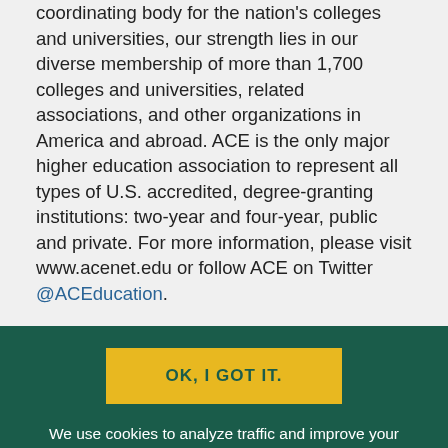coordinating body for the nation's colleges and universities, our strength lies in our diverse membership of more than 1,700 colleges and universities, related associations, and other organizations in America and abroad. ACE is the only major higher education association to represent all types of U.S. accredited, degree-granting institutions: two-year and four-year, public and private. For more information, please visit www.acenet.edu or follow ACE on Twitter @ACEEducation.
OK, I GOT IT.
We use cookies to analyze traffic and improve your experience. By continuing without changing your cookie settings, you agree to this convention. For more information, please see our Privacy & Security Statement.